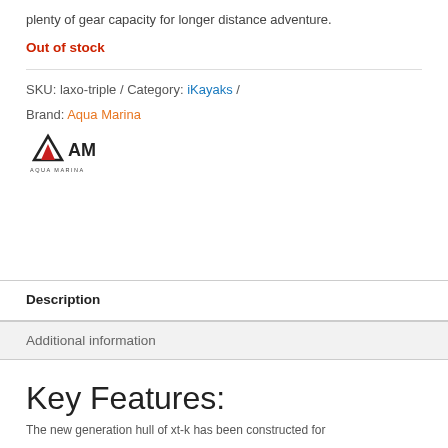plenty of gear capacity for longer distance adventure.
Out of stock
SKU: laxo-triple / Category: iKayaks /
Brand: Aqua Marina
[Figure (logo): Aqua Marina logo with triangular mountain/tent icon and text AQUA MARINA below]
Description
Additional information
Key Features:
The new generation hull of xt-k has been constructed for